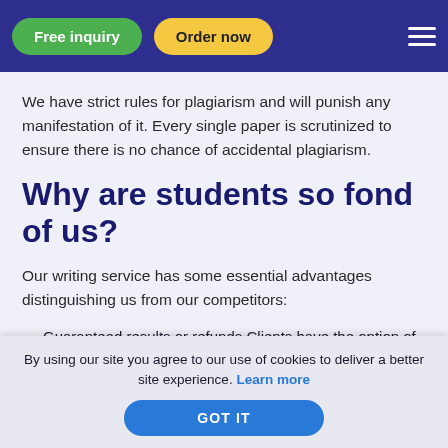Free inquiry | Order now
We have strict rules for plagiarism and will punish any manifestation of it. Every single paper is scrutinized to ensure there is no chance of accidental plagiarism.
Why are students so fond of us?
Our writing service has some essential advantages distinguishing us from our competitors:
Guaranteed results or refunds Clients have the option of Term Paper Academic writing help Dallas, Texas
By using our site you agree to our use of cookies to deliver a better site experience. Learn more
GOT IT